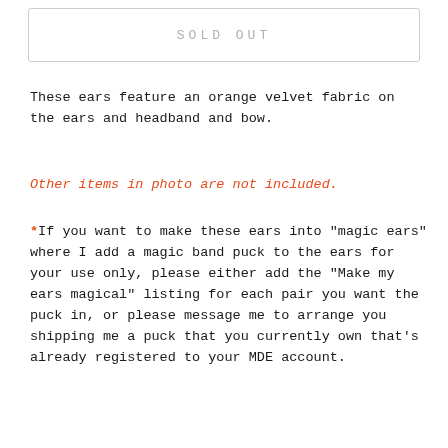[Figure (other): Sold Out button/box with grey border and greyed-out 'SOLD OUT' text in uppercase monospace]
These ears feature an orange velvet fabric on the ears and headband and bow.
Other items in photo are not included.
*If you want to make these ears into "magic ears" where I add a magic band puck to the ears for your use only, please either add the "Make my ears magical" listing for each pair you want the puck in, or please message me to arrange you shipping me a puck that you currently own that's already registered to your MDE account.